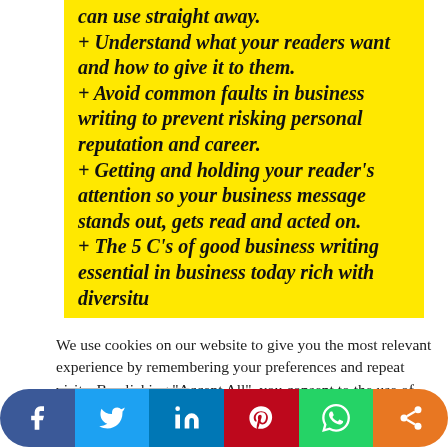[Figure (other): Yellow sticky note with bold italic text listing bullet points about business writing skills: understanding readers, avoiding common faults, getting reader attention, the 5 C's of good business writing]
We use cookies on our website to give you the most relevant experience by remembering your preferences and repeat visits. By clicking "Accept All", you consent to the use of ALL the cookies. However, you may visit "Cookie Settings" to provide a controlled consent.
Cookie Settings | Accept All
[Figure (other): Social media sharing buttons: Facebook (blue), Twitter (light blue), LinkedIn (dark blue), Pinterest (red), WhatsApp (green), Share (orange)]